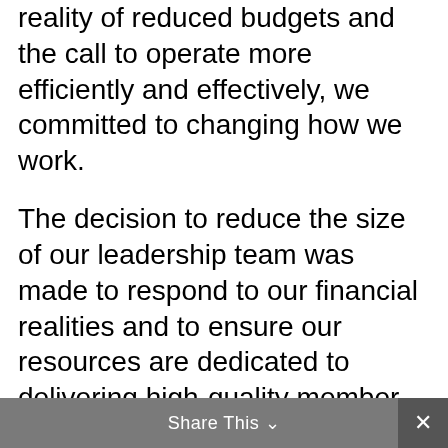reality of reduced budgets and the call to operate more efficiently and effectively, we committed to changing how we work.
The decision to reduce the size of our leadership team was made to respond to our financial realities and to ensure our resources are dedicated to delivering high-quality member services and programs in a period of constraint. Any suggestion to the contrary is simply false.
As difficult as these decisions were, they were absolutely necessary to allow OACAS to deliver on its mandate.
Share This